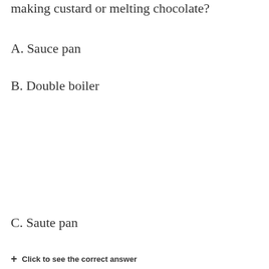making custard or melting chocolate?
A. Sauce pan
B. Double boiler
C. Saute pan
+ Click to see the correct answer